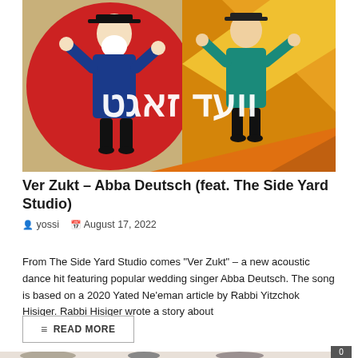[Figure (illustration): Colorful illustration of two Jewish men dancing with Hebrew text 'וועד זאגט' in white on a vibrant red and orange geometric background]
Ver Zukt – Abba Deutsch (feat. The Side Yard Studio)
yossi   August 17, 2022
From The Side Yard Studio comes "Ver Zukt" – a new acoustic dance hit featuring popular wedding singer Abba Deutsch. The song is based on a 2020 Yated Ne'eman article by Rabbi Yitzchok Hisiger. Rabbi Hisiger wrote a story about
READ MORE
[Figure (photo): Partial photo of people at bottom of page with a dark badge showing 0]